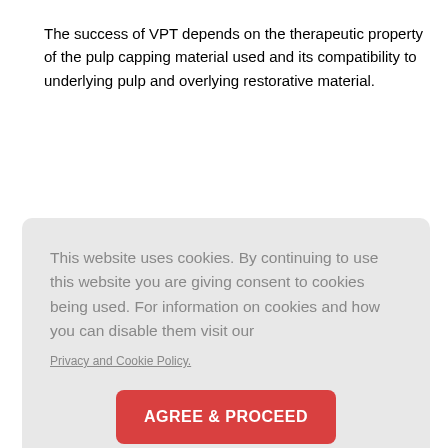The success of VPT depends on the therapeutic property of the pulp capping material used and its compatibility to underlying pulp and overlying restorative material.
This website uses cookies. By continuing to use this website you are giving consent to cookies being used. For information on cookies and how you can disable them visit our
Privacy and Cookie Policy.
AGREE & PROCEED